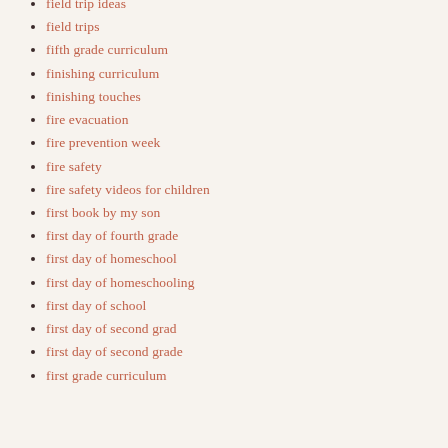field trip ideas
field trips
fifth grade curriculum
finishing curriculum
finishing touches
fire evacuation
fire prevention week
fire safety
fire safety videos for children
first book by my son
first day of fourth grade
first day of homeschool
first day of homeschooling
first day of school
first day of second grad
first day of second grade
first grade curriculum